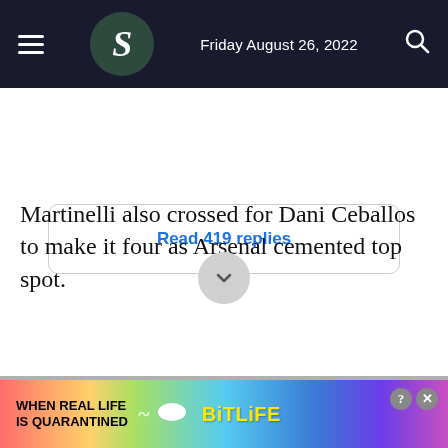Friday August 26, 2022
Read 419 replies
Martinelli also crossed for Dani Ceballos to make it four as Arsenal cemented top spot.